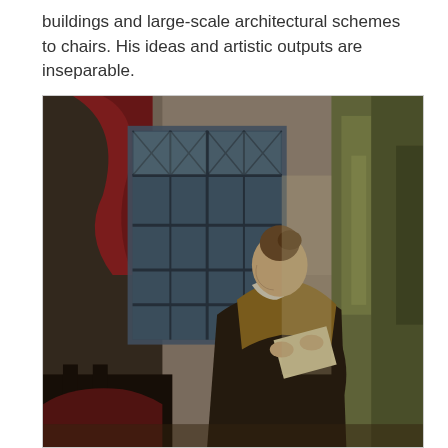buildings and large-scale architectural schemes to chairs. His ideas and artistic outputs are inseparable.
[Figure (photo): Vermeer's 'Girl Reading a Letter at an Open Window' — a young woman in profile reading a letter near a leaded-glass window, with a red curtain draped at upper left and a large green curtain at the right, painted in the Dutch Golden Age style.]